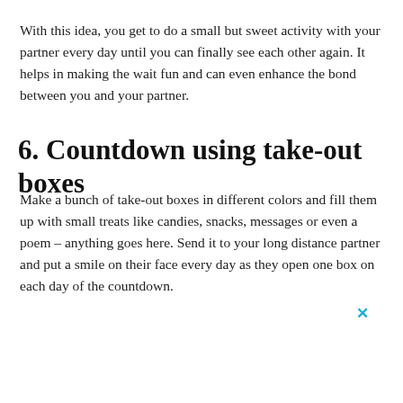With this idea, you get to do a small but sweet activity with your partner every day until you can finally see each other again. It helps in making the wait fun and can even enhance the bond between you and your partner.
6. Countdown using take-out boxes
Make a bunch of take-out boxes in different colors and fill them up with small treats like candies, snacks, messages or even a poem – anything goes here. Send it to your long distance partner and put a smile on their face every day as they open one box on each day of the countdown.